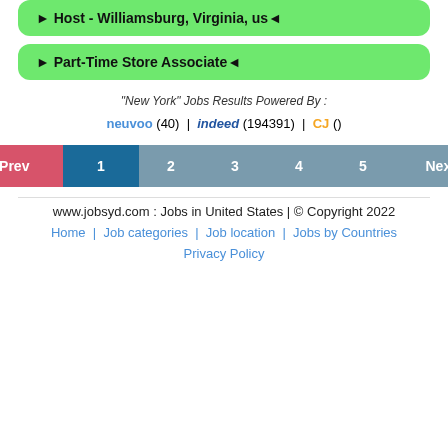► Host - Williamsburg, Virginia, us◄
► Part-Time Store Associate◄
"New York" Jobs Results Powered By :
neuvoo (40) | indeed (194391) | CJ ()
[Figure (other): Pagination bar with Prev, 1, 2, 3, 4, 5, Next buttons]
www.jobsyd.com : Jobs in United States | © Copyright 2022
Home | Job categories | Job location | Jobs by Countries
Privacy Policy